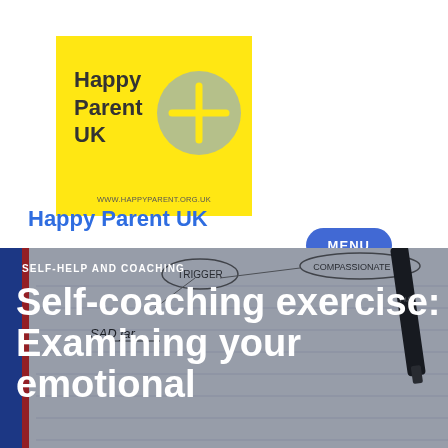[Figure (logo): Happy Parent UK logo: yellow square with bold text 'Happy Parent UK' and a grey circle with a plus sign, URL www.happyparent.org.uk at bottom]
Happy Parent UK
[Figure (other): Blue menu button with rounded corners labeled MENU]
[Figure (photo): Background photo of a notebook with handwritten mind map notes including words 'TRIGGER', 'COMPASSIONATE TIP', 'SAD JAR', with a pen visible, blue folder edge on left side]
SELF-HELP AND COACHING
Self-coaching exercise: Examining your emotional